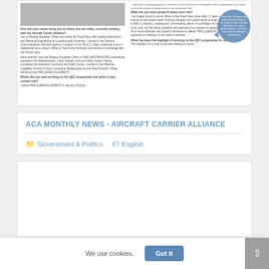[Figure (screenshot): Article preview showing a two-column newsletter page with photo at top, Q&A text about a Weapon Engineering Officer working on HMS QUEEN ELIZABETH, with a blue speech bubble quote on the right column.]
ACA MONTHLY NEWS - AIRCRAFT CARRIER ALLIANCE
Government & Politics   English
[Figure (screenshot): Second article card, mostly white/blank space visible.]
We use cookies.
Got it